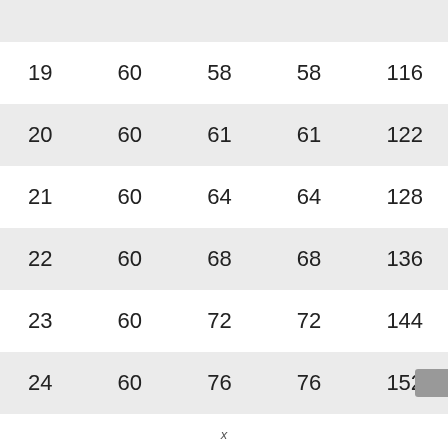| 19 | 60 | 58 | 58 | 116 |
| 20 | 60 | 61 | 61 | 122 |
| 21 | 60 | 64 | 64 | 128 |
| 22 | 60 | 68 | 68 | 136 |
| 23 | 60 | 72 | 72 | 144 |
| 24 | 60 | 76 | 76 | 152 |
x